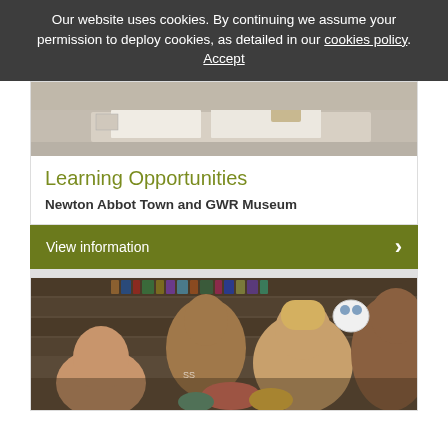Our website uses cookies. By continuing we assume your permission to deploy cookies, as detailed in our cookies policy. Accept
[Figure (photo): Photo of a table with papers and craft/model making materials at a museum workshop]
Learning Opportunities
Newton Abbot Town and GWR Museum
View information
[Figure (photo): Photo of a family with children holding small toy figures in front of bookshelves at a museum]